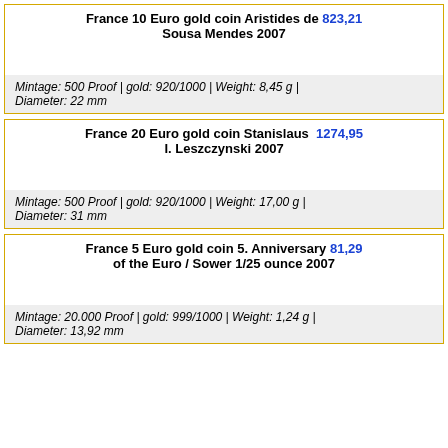France 10 Euro gold coin Aristides de Sousa Mendes 2007  823,21
Mintage: 500 Proof | gold: 920/1000 | Weight: 8,45 g | Diameter: 22 mm
France 20 Euro gold coin Stanislaus I. Leszczynski 2007  1274,95
Mintage: 500 Proof | gold: 920/1000 | Weight: 17,00 g | Diameter: 31 mm
France 5 Euro gold coin 5. Anniversary of the Euro / Sower 1/25 ounce 2007  81,29
Mintage: 20.000 Proof | gold: 999/1000 | Weight: 1,24 g | Diameter: 13,92 mm